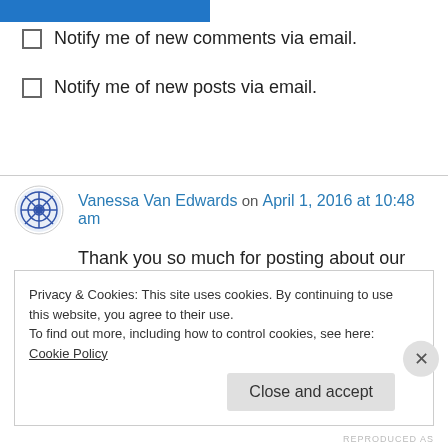[Figure (other): Blue button or bar at top of page]
Notify me of new comments via email.
Notify me of new posts via email.
Vanessa Van Edwards on April 1, 2016 at 10:48 am
Thank you so much for posting about our resource sheet! You rock ❤
Liked by 1 person
Privacy & Cookies: This site uses cookies. By continuing to use this website, you agree to their use. To find out more, including how to control cookies, see here: Cookie Policy
Close and accept